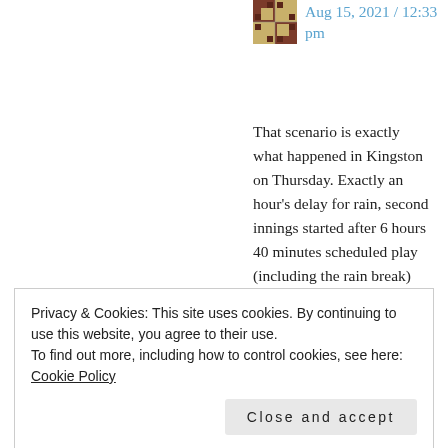[Figure (logo): Small square avatar/logo icon with brown and red geometric pattern]
Aug 15, 2021 / 12:33 pm
That scenario is exactly what happened in Kingston on Thursday. Exactly an hour’s delay for rain, second innings started after 6 hours 40 minutes scheduled play (including the rain break) with 73 overs gone in the day. It finished half an hour later after four (no, that’s not
Privacy & Cookies: This site uses cookies. By continuing to use this website, you agree to their use.
To find out more, including how to control cookies, see here: Cookie Policy
Close and accept